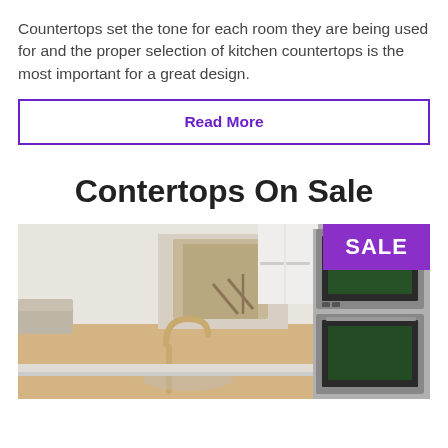Countertops set the tone for each room they are being used for and the proper selection of kitchen countertops is the most important for a great design.
Read More
Contertops On Sale
[Figure (photo): Kitchen interior photo showing white cabinets, stainless steel double ovens on the right, a gold/brass faucet in the foreground, and a hallway with stairs visible in the background. A purple SALE badge is in the top-right corner.]